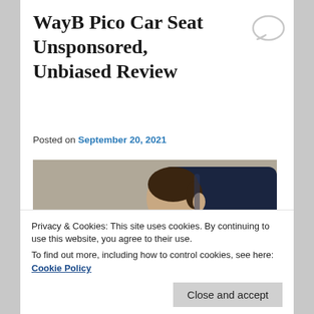WayB Pico Car Seat Unsponsored, Unbiased Review
Posted on September 20, 2021
[Figure (photo): Child seated in a WayB Pico car seat, viewed from the side, wearing a blue jacket with orange harness straps visible. The WayB logo is visible on the side of the dark blue car seat.]
Privacy & Cookies: This site uses cookies. By continuing to use this website, you agree to their use.
To find out more, including how to control cookies, see here: Cookie Policy
Close and accept